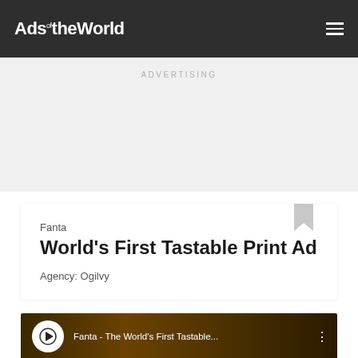Ads of the World
ADVERTISING
Fanta
World's First Tastable Print Ad
Agency: Ogilvy
[Figure (screenshot): Video thumbnail showing 'Fanta - The World's First Tastable...' with a play icon circle and three-dot menu]